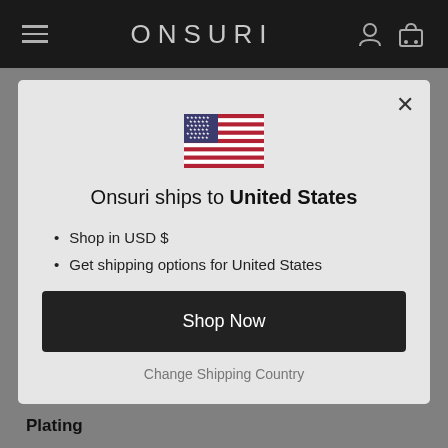ONSURI
[Figure (illustration): US flag emoji/icon centered in modal]
Onsuri ships to United States
Shop in USD $
Get shipping options for United States
Shop Now
Change Shipping Country
Plating